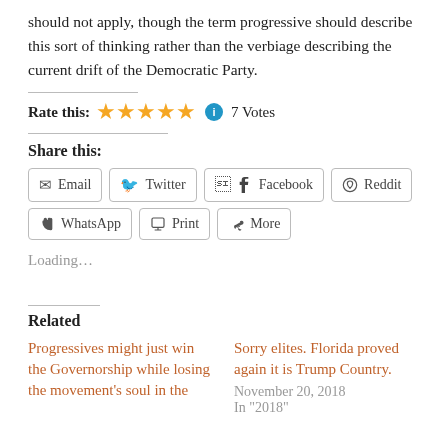should not apply, though the term progressive should describe this sort of thinking rather than the verbiage describing the current drift of the Democratic Party.
Rate this: ★★★★★ ℹ 7 Votes
Share this:
Email  Twitter  Facebook  Reddit  WhatsApp  Print  More
Loading...
Related
Progressives might just win the Governorship while losing the movement's soul in the
Sorry elites. Florida proved again it is Trump Country.
November 20, 2018
In "2018"